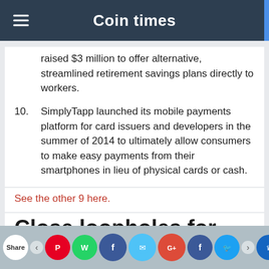Coin times
raised $3 million to offer alternative, streamlined retirement savings plans directly to workers.
10. SimplyTapp launched its mobile payments platform for card issuers and developers in the summer of 2014 to ultimately allow consumers to make easy payments from their smartphones in lieu of physical cards or cash.
See the other 9 here.
Close loopholes for